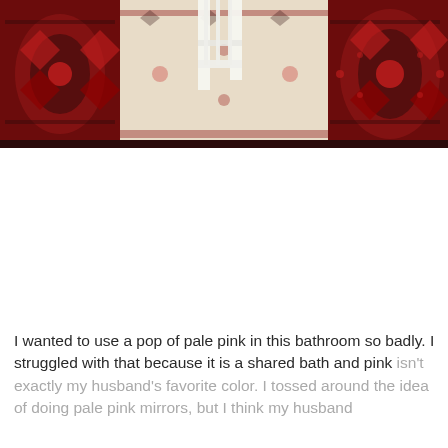[Figure (photo): A Persian-style rug with red, dark burgundy, and cream colors featuring intricate floral and geometric medallion patterns. A white chair leg is visible in the upper center portion of the image.]
I wanted to use a pop of pale pink in this bathroom so badly. I struggled with that because it is a shared bath and pink isn't exactly my husband's favorite color. I tossed around the idea of doing pale pink mirrors, but I think my husband